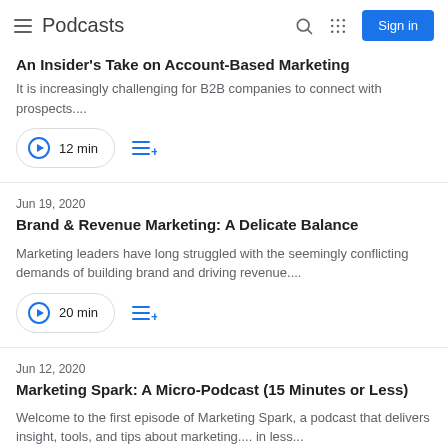Podcasts — Sign in
An Insider's Take on Account-Based Marketing
It is increasingly challenging for B2B companies to connect with prospects....
12 min
Jun 19, 2020
Brand & Revenue Marketing: A Delicate Balance
Marketing leaders have long struggled with the seemingly conflicting demands of building brand and driving revenue....
20 min
Jun 12, 2020
Marketing Spark: A Micro-Podcast (15 Minutes or Less)
Welcome to the first episode of Marketing Spark, a podcast that delivers insight, tools, and tips about marketing.... in less...